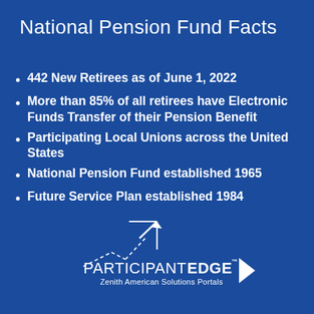National Pension Fund Facts
442 New Retirees as of June 1, 2022
More than 85% of all retirees have Electronic Funds Transfer of their Pension Benefit
Participating Local Unions across the United States
National Pension Fund established 1965
Future Service Plan established 1984
[Figure (logo): ParticipantEdge logo with upward arrow graphic and tagline 'Zenith American Solutions Portals']